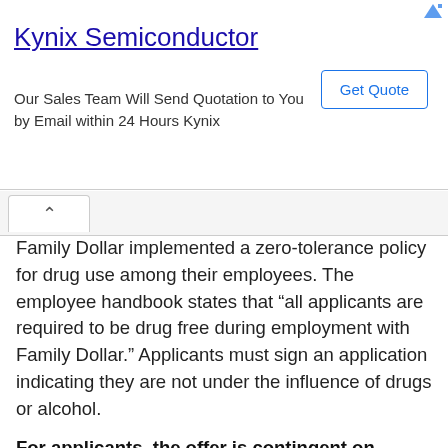[Figure (screenshot): Kynix Semiconductor advertisement banner with title, description text, and Get Quote button]
Family Dollar implemented a zero-tolerance policy for drug use among their employees. The employee handbook states that “all applicants are required to be drug free during employment with Family Dollar.” Applicants must sign an application indicating they are not under the influence of drugs or alcohol.
For applicants, the offer is contingent on passing the drug test
If someone fails the drug test, then they cannot work at Family Dollar. Accepting a job offer is contingent upon successful completion of pre-